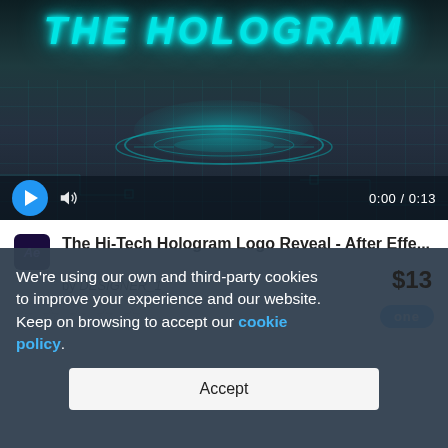[Figure (screenshot): Video player showing a hologram logo reveal animation. Dark background with teal/cyan 'THE HOLOGRAM' text in italic bold, a glowing circuit board platform, and video controls showing 0:00 / 0:13 with play button and volume icon.]
The Hi-Tech Hologram Logo Reveal - After Effe...
by DESIGNER_1
★★★★★ (empty stars)
one
$13
We're using our own and third-party cookies to improve your experience and our website. Keep on browsing to accept our cookie policy.
Accept